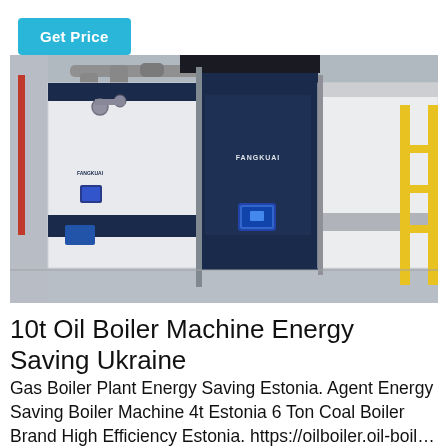Get Price
[Figure (photo): Industrial gas boiler machines (Fangkuai brand) in a large facility. Multiple large white and dark blue boiler units are visible, with pipes overhead and yellow metal scaffolding on the right side. The boilers have blue control panels and Fangkuai branding.]
10t Oil Boiler Machine Energy Saving Ukraine
Gas Boiler Plant Energy Saving Estonia. Agent Energy Saving Boiler Machine 4t Estonia 6 Ton Coal Boiler Brand High Efficiency Estonia. https://oilboiler.oil-boil…